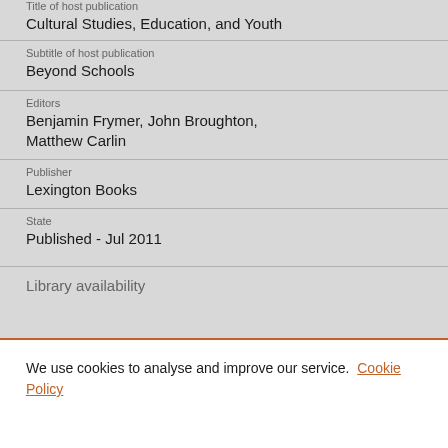Title of host publication
Cultural Studies, Education, and Youth
Subtitle of host publication
Beyond Schools
Editors
Benjamin Frymer, John Broughton, Matthew Carlin
Publisher
Lexington Books
State
Published - Jul 2011
Library availability
We use cookies to analyse and improve our service. Cookie Policy